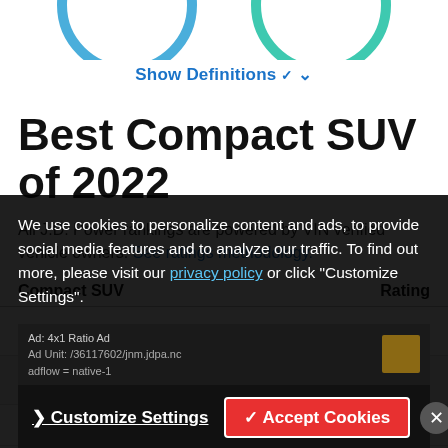[Figure (illustration): Partial view of two donut/circle rating indicators at top — one blue on left, one teal on right, cropped at top of page]
Show Definitions ∨
Best Compact SUV of 2022
All J.D. Power rankings are powered by VIN verified vehicle owners. See ratings methodology.
| Compact SUV | Rating |
| --- | --- |
| #1 Buick Envision | 86 |
| #2 Chevrolet Equinox | 85 |
| #3 ... | 85 |
We use cookies to personalize content and ads, to provide social media features and to analyze our traffic. To find out more, please visit our privacy policy or click "Customize Settings".
Ad: 4x1 Ratio Ad
Ad Unit: /36117602/jnm.jdpa.nc
adflow = native-1